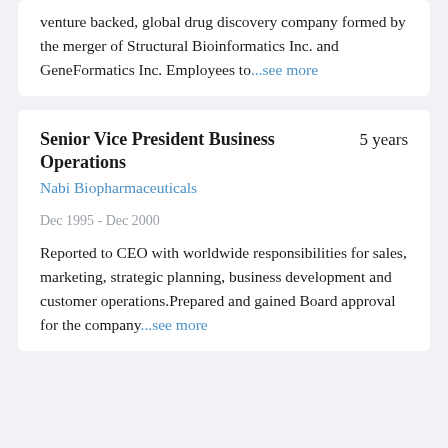venture backed, global drug discovery company formed by the merger of Structural Bioinformatics Inc. and GeneFormatics Inc. Employees to...see more
Senior Vice President Business Operations
5 years
Nabi Biopharmaceuticals
Dec 1995 - Dec 2000
Reported to CEO with worldwide responsibilities for sales, marketing, strategic planning, business development and customer operations.Prepared and gained Board approval for the company...see more